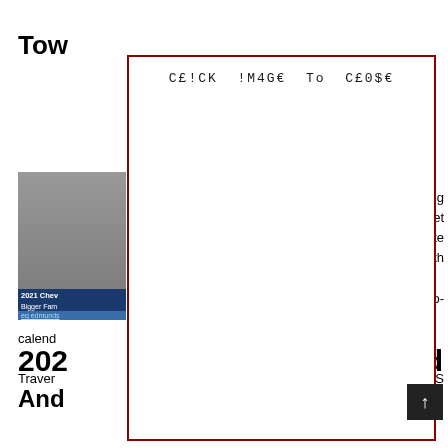Tow... (truncated by overlay)
[Figure (screenshot): Thumbnail image of 2021 Chevy, partially visible, with label '2021 Chev Bigger Fam' and source 'eq edmunds']
[Figure (other): White overlay box with red border containing text 'CE!CK !M4GE To C£0$E' in monospace font, covering the main content]
...wing ...olet ...cate for the... with the ini... crosso... so- interes... calend... Traver... tic S
202... ild
And...
[Figure (other): Small dark scroll-to-top button with upward arrow in bottom right corner]